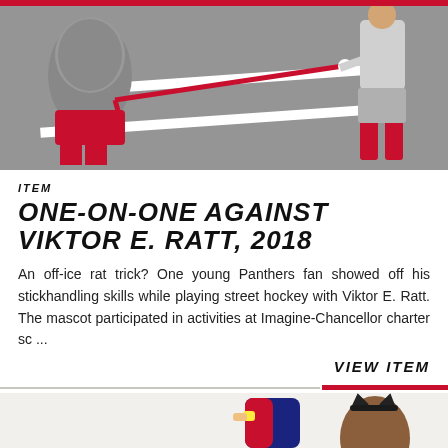[Figure (photo): Street hockey scene showing a mascot (Viktor E. Ratt in fur costume with red shorts) and a young fan playing street hockey on asphalt with white road markings]
ITEM
ONE-ON-ONE AGAINST VIKTOR E. RATT, 2018
An off-ice rat trick? One young Panthers fan showed off his stickhandling skills while playing street hockey with Viktor E. Ratt. The mascot participated in activities at Imagine-Chancellor charter sc ...
VIEW ITEM
[Figure (photo): Two figures partially visible at bottom: left shows a person in red and navy jacket with yellow wristband, right shows back of a person's head with brown hair and dark cat ear headband]